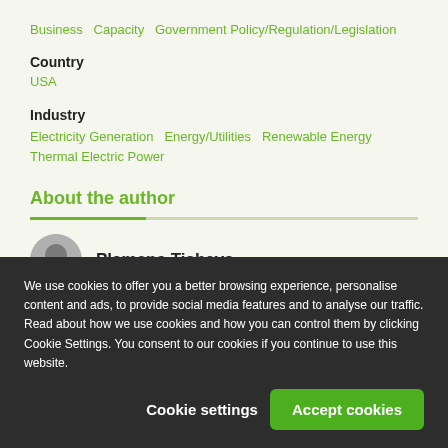Business   Capacity   Government Policy/Regulation/Legislation
Country
USA
Industry
Electricity Generation   Energy/Utilities   Renewable Energy   Thermal Electric Power
About the author
Plamena Tisheva
We use cookies to offer you a better browsing experience, personalise content and ads, to provide social media features and to analyse our traffic. Read about how we use cookies and how you can control them by clicking Cookie Settings. You consent to our cookies if you continue to use this website.